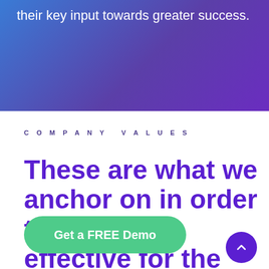their key input towards greater success.
COMPANY VALUES
These are what we anchor on in order to become effective for the companies we service